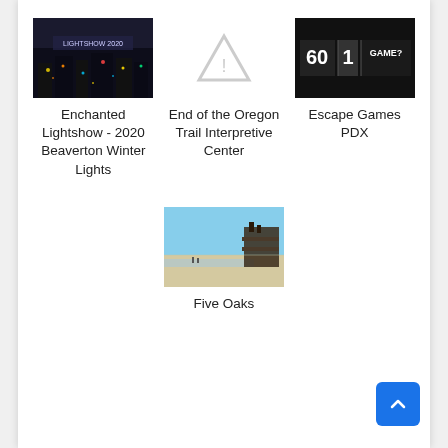[Figure (photo): Thumbnail of Enchanted Lightshow - nighttime lights display]
Enchanted Lightshow - 2020 Beaverton Winter Lights
[Figure (other): Warning triangle icon placeholder for End of the Oregon Trail Interpretive Center]
End of the Oregon Trail Interpretive Center
[Figure (screenshot): Escape Games PDX thumbnail showing game interface with 60, 1, GAME?]
Escape Games PDX
[Figure (photo): Five Oaks - beach scene with rusted shipwreck structure]
Five Oaks